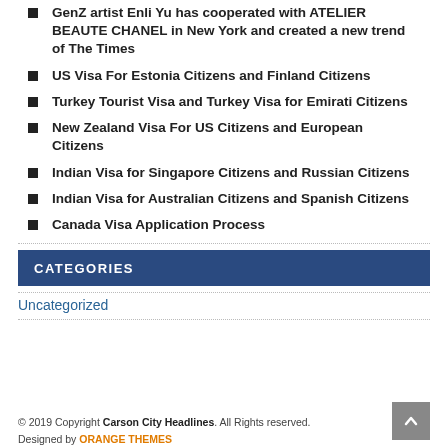GenZ artist Enli Yu has cooperated with ATELIER BEAUTE CHANEL in New York and created a new trend of The Times
US Visa For Estonia Citizens and Finland Citizens
Turkey Tourist Visa and Turkey Visa for Emirati Citizens
New Zealand Visa For US Citizens and European Citizens
Indian Visa for Singapore Citizens and Russian Citizens
Indian Visa for Australian Citizens and Spanish Citizens
Canada Visa Application Process
CATEGORIES
Uncategorized
© 2019 Copyright Carson City Headlines. All Rights reserved. Designed by ORANGE THEMES